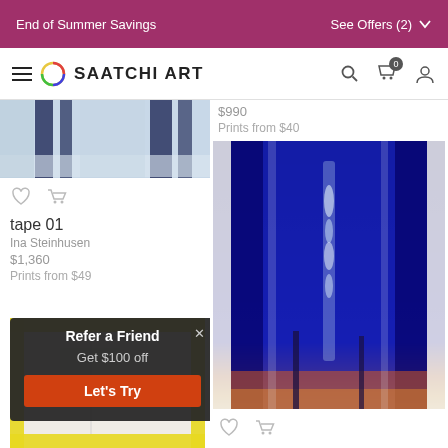End of Summer Savings | See Offers (2)
SAATCHI ART
[Figure (photo): Partial artwork image with dark vertical stripes on light blue/gray background (tape 01 by Ina Steinhusen)]
tape 01
Ina Steinhusen
$1,360
Prints from $49
[Figure (photo): Artwork with yellow tape border on light background, partially visible]
[Figure (screenshot): Refer a Friend popup overlay: Get $100 off, Let's Try button]
$990
Prints from $40
[Figure (photo): Blue abstract artwork with vertical shapes and warm orange/yellow tones at bottom]